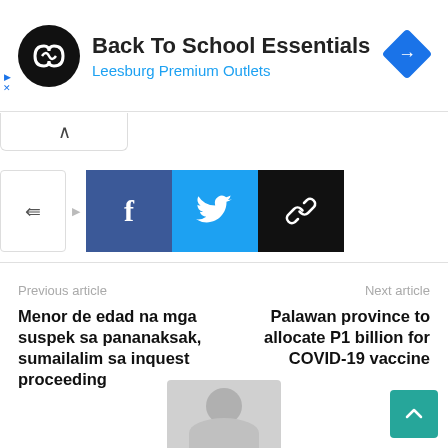[Figure (screenshot): Advertisement banner: black circular logo with infinity-like icon, text 'Back To School Essentials' in bold black, 'Leesburg Premium Outlets' in blue, blue diamond navigation icon on right, play and X controls on left edge]
[Figure (screenshot): Collapse/expand button row with upward caret]
[Figure (screenshot): Social share buttons row: share toggle button, Facebook (blue), Twitter (light blue), copy link (black)]
Previous article
Menor de edad na mga suspek sa pananaksak, sumailalim sa inquest proceeding
Next article
Palawan province to allocate P1 billion for COVID-19 vaccine
[Figure (photo): Gray placeholder avatar image at bottom center]
[Figure (other): Teal back-to-top button with white upward arrow, bottom right corner]